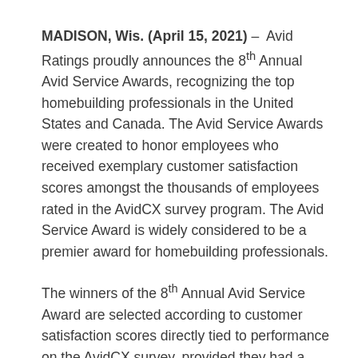MADISON, Wis. (April 15, 2021) – Avid Ratings proudly announces the 8th Annual Avid Service Awards, recognizing the top homebuilding professionals in the United States and Canada. The Avid Service Awards were created to honor employees who received exemplary customer satisfaction scores amongst the thousands of employees rated in the AvidCX survey program. The Avid Service Award is widely considered to be a premier award for homebuilding professionals.
The winners of the 8th Annual Avid Service Award are selected according to customer satisfaction scores directly tied to performance on the AvidCX survey, provided they had a representative sample